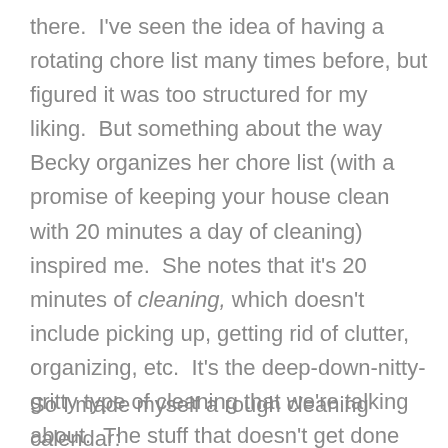there.  I've seen the idea of having a rotating chore list many times before, but figured it was too structured for my liking.  But something about the way Becky organizes her chore list (with a promise of keeping your house clean with 20 minutes a day of cleaning) inspired me.  She notes that it's 20 minutes of cleaning, which doesn't include picking up, getting rid of clutter, organizing, etc.  It's the deep-down-nitty-gritty type of cleaning that we're talking about.  The stuff that doesn't get done often enough around here.
So I made myself a rough cleaning calendar: